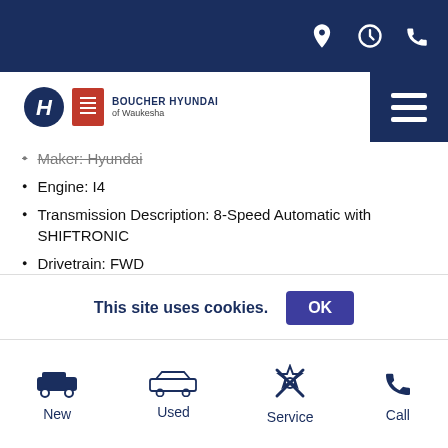Boucher Hyundai of Waukesha – navigation header with location, hours, phone icons
[Figure (logo): Hyundai and Boucher Hyundai of Waukesha logo]
Maker: Hyundai
Engine: I4
Transmission Description: 8-Speed Automatic with SHIFTRONIC
Drivetrain: FWD
Fuel Economy: 27/37
Exterior Color: Hampton Gray
Interior Color: Black
27/37 City/Highway MPG Panoramic Sunroof, Backup Camera,
This site uses cookies. OK
New | Used | Service | Call